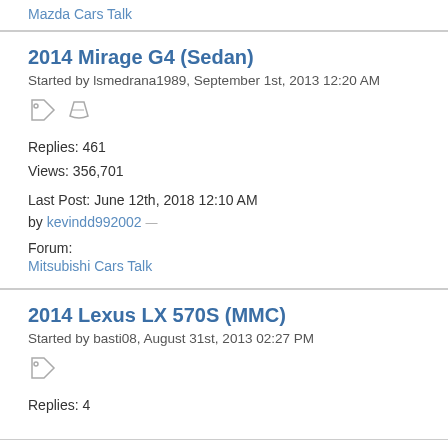Mazda Cars Talk
2014 Mirage G4 (Sedan)
Started by lsmedrana1989, September 1st, 2013 12:20 AM
Replies: 461
Views: 356,701
Last Post: June 12th, 2018 12:10 AM
by kevindd992002
Forum:
Mitsubishi Cars Talk
2014 Lexus LX 570S (MMC)
Started by basti08, August 31st, 2013 02:27 PM
Replies: 4